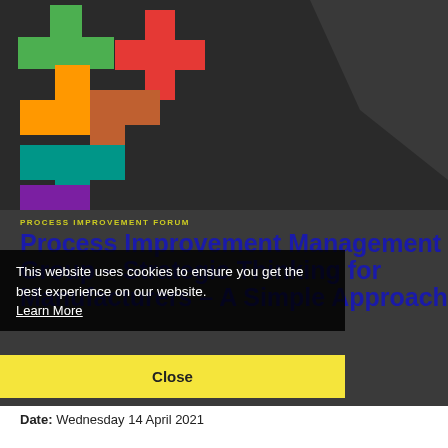[Figure (photo): Colorful puzzle/tetris-like wooden blocks (green, red, orange, teal, purple, yellow) arranged on a dark background]
PROCESS IMPROVEMENT FORUM
Process Improvement Management Group – Strategic Thinking for Manufacturers – A Simple Approach
This website uses cookies to ensure you get the best experience on our website.
Learn More
Close
Date: Wednesday 14 April 2021